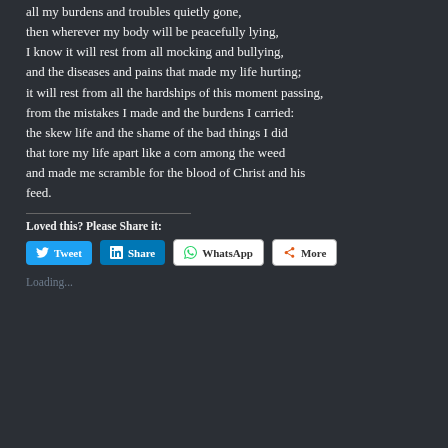all my burdens and troubles quietly gone,
then wherever my body will be peacefully lying,
I know it will rest from all mocking and bullying,
and the diseases and pains that made my life hurting;
it will rest from all the hardships of this moment passing,
from the mistakes I made and the burdens I carried:
the skew life and the shame of the bad things I did
that tore my life apart like a corn among the weed
and made me scramble for the blood of Christ and his feed.
Loved this? Please Share it:
[Figure (other): Social share buttons: Tweet (Twitter), Share (LinkedIn), WhatsApp, More]
Loading...